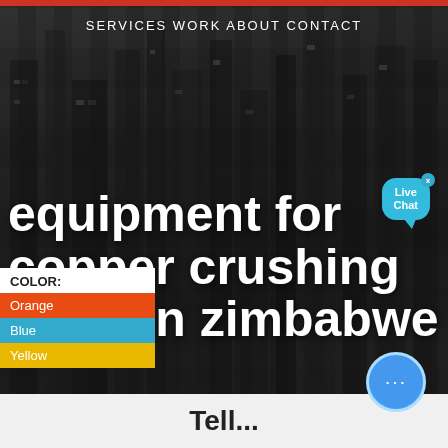SERVICES  WORK  ABOUT  CONTACT
[Figure (screenshot): Blurred black and white aerial cityscape background with tall buildings]
equipment for copper crushing plant in zimbabwe
COLOR:
Orange
Blue
Yellow
[Figure (infographic): Live Chat bubble icon in cyan/teal color with close X button]
[Figure (infographic): Blue circular chat button with ellipsis dots at bottom right]
Tell...